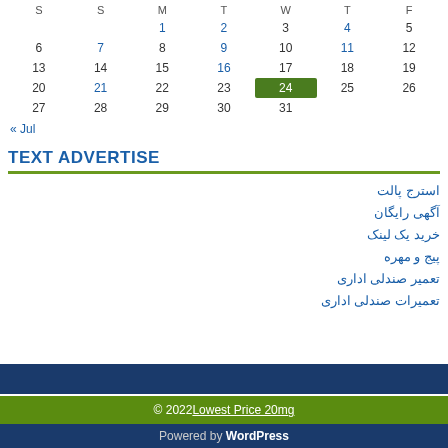| S | S | M | T | W | T | F |
| --- | --- | --- | --- | --- | --- | --- |
|  |  | 1 | 2 | 3 | 4 | 5 |
| 6 | 7 | 8 | 9 | 10 | 11 | 12 |
| 13 | 14 | 15 | 16 | 17 | 18 | 19 |
| 20 | 21 | 22 | 23 | 24 | 25 | 26 |
| 27 | 28 | 29 | 30 | 31 |  |  |
« Jul
TEXT ADVERTISE
استرج پالت
آگهی رایگان
خرید یک لینک
پیج و مهره
تعمیر صندلی اداری
تعمیرات صندلی اداری
© 2022 Lowest Price 20mg
Powered by WordPress